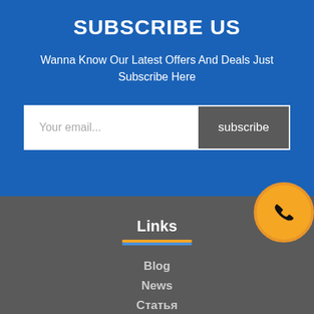SUBSCRIBE US
Wanna Know Our Latest Offers And Deals Just Subscribe Here
[Figure (other): Email subscription form with text input placeholder 'Your email...' and a 'subscribe' button]
[Figure (other): Orange circle with phone icon in bottom right area]
Links
Blog
News
Статья
Legal